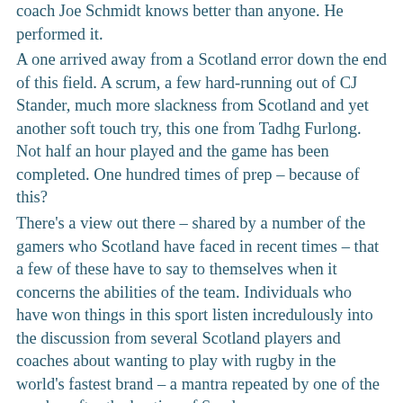coach Joe Schmidt knows better than anyone. He performed it. A one arrived away from a Scotland error down the end of this field. A scrum, a few hard-running out of CJ Stander, much more slackness from Scotland and yet another soft touch try, this one from Tadhg Furlong. Not half an hour played and the game has been completed. One hundred times of prep – because of this? There's a view out there – shared by a number of the gamers who Scotland have faced in recent times – that a few of these have to say to themselves when it concerns the abilities of the team. Individuals who have won things in this sport listen incredulously into the discussion from several Scotland players and coaches about wanting to play with rugby in the world's fastest brand – a mantra repeated by one of the number after the beating of Sunday. Ireland and scotland are cousins however in terms that